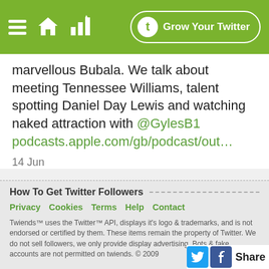[Figure (screenshot): Green navigation bar with hamburger menu, home icon, bar chart icon, and 'Grow Your Twitter' button with Twiends logo]
marvellous Bubala. We talk about meeting Tennessee Williams, talent spotting Daniel Day Lewis and watching naked attraction with @GylesB1  podcasts.apple.com/gb/podcast/out…
14 Jun
How To Get Twitter Followers
Privacy   Cookies   Terms   Help   Contact
Twiends™ uses the Twitter™ API, displays it's logo & trademarks, and is not endorsed or certified by them. These items remain the property of Twitter. We do not sell followers, we only provide display advertising. Bots & fake accounts are not permitted on twiends. © 2009